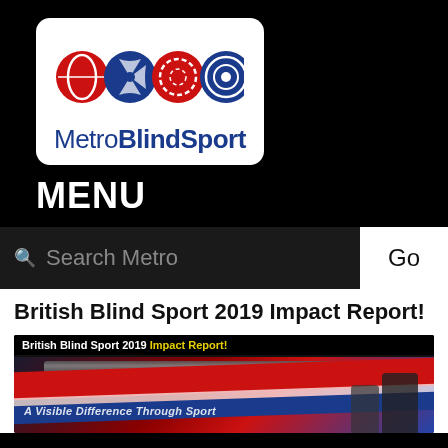[Figure (logo): Metro Blind Sport logo with four circular sport icons (rugby ball in red, circular blue icon with white design, red dashed circle, blue target circle) and text 'MetroBlindSport' below]
MENU
Search Metro
Go
British Blind Sport 2019 Impact Report!
[Figure (screenshot): Article preview image showing 'British Blind Sport 2019 Impact Report!' with yellow highlighted text and a banner reading 'A Visible Difference Through Sport' over a red/blue/white striped background with silhouetted figures]